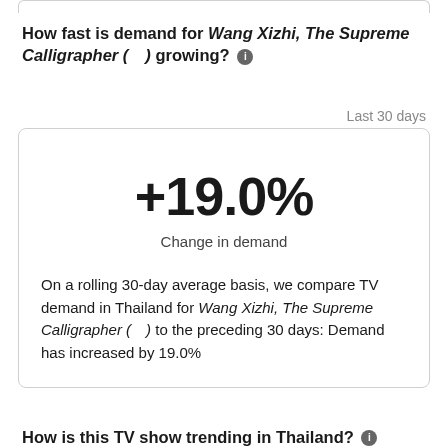How fast is demand for Wang Xizhi, The Supreme Calligrapher (  ) growing? ℹ
Last 30 days
+19.0%
Change in demand
On a rolling 30-day average basis, we compare TV demand in Thailand for Wang Xizhi, The Supreme Calligrapher (  ) to the preceding 30 days: Demand has increased by 19.0%
How is this TV show trending in Thailand? ℹ